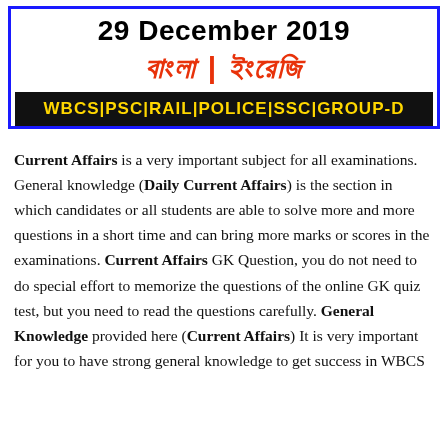29 December 2019
বাংলা | ইংরেজি
WBCS|PSC|RAIL|POLICE|SSC|GROUP-D
Current Affairs is a very important subject for all examinations. General knowledge (Daily Current Affairs) is the section in which candidates or all students are able to solve more and more questions in a short time and can bring more marks or scores in the examinations. Current Affairs GK Question, you do not need to do special effort to memorize the questions of the online GK quiz test, but you need to read the questions carefully. General Knowledge provided here (Current Affairs) It is very important for you to have strong general knowledge to get success in WBCS